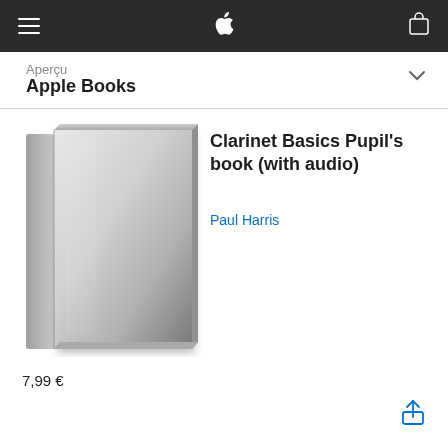Aperçu · Apple Books
Aperçu
Apple Books
[Figure (illustration): Book cover image — plain grey book with no title text, rendered with subtle 3D perspective showing the spine on the left and front face, gradient shading from light silver to dark grey]
Clarinet Basics Pupil's book (with audio)
Paul Harris
7,99 €